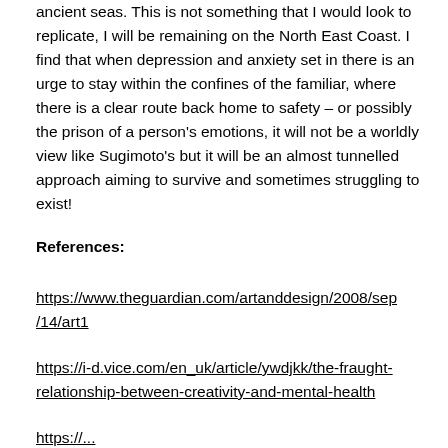ancient seas. This is not something that I would look to replicate, I will be remaining on the North East Coast. I find that when depression and anxiety set in there is an urge to stay within the confines of the familiar, where there is a clear route back home to safety – or possibly the prison of a person's emotions, it will not be a worldly view like Sugimoto's but it will be an almost tunnelled approach aiming to survive and sometimes struggling to exist!
References:
https://www.theguardian.com/artanddesign/2008/sep/14/art1
https://i-d.vice.com/en_uk/article/ywdjkk/the-fraught-relationship-between-creativity-and-mental-health
https://...